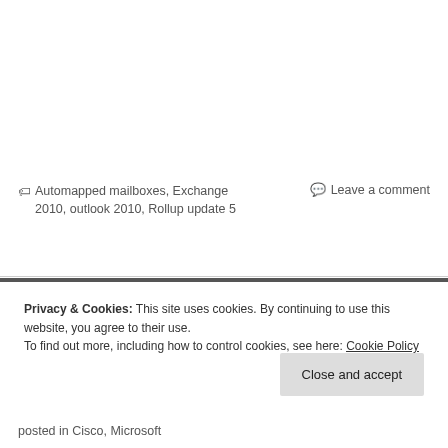🏷 Automapped mailboxes, Exchange 2010, outlook 2010, Rollup update 5   💬 Leave a comment
Privacy & Cookies: This site uses cookies. By continuing to use this website, you agree to their use. To find out more, including how to control cookies, see here: Cookie Policy
Close and accept
posted in Cisco, Microsoft